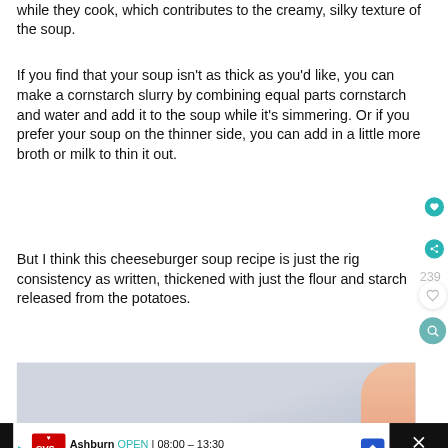while they cook, which contributes to the creamy, silky texture of the soup.
If you find that your soup isn't as thick as you'd like, you can make a cornstarch slurry by combining equal parts cornstarch and water and add it to the soup while it's simmering. Or if you prefer your soup on the thinner side, you can add in a little more broth or milk to thin it out.
But I think this cheeseburger soup recipe is just the right consistency as written, thickened with just the flour and starch released from the potatoes.
[Figure (screenshot): Partial photo of a bowl of cheeseburger soup with a hand visible at the right edge]
[Figure (screenshot): Advertisement bar for CVS Pharmacy in Ashburn, OPEN 08:00-13:30, 43930 Farmwell Hunt Plaza, Ashburn]